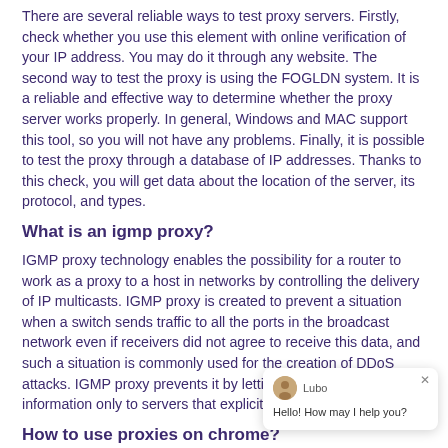There are several reliable ways to test proxy servers. Firstly, check whether you use this element with online verification of your IP address. You may do it through any website. The second way to test the proxy is using the FOGLDN system. It is a reliable and effective way to determine whether the proxy server works properly. In general, Windows and MAC support this tool, so you will not have any problems. Finally, it is possible to test the proxy through a database of IP addresses. Thanks to this check, you will get data about the location of the server, its protocol, and types.
What is an igmp proxy?
IGMP proxy technology enables the possibility for a router to work as a proxy to a host in networks by controlling the delivery of IP multicasts. IGMP proxy is created to prevent a situation when a switch sends traffic to all the ports in the broadcast network even if receivers did not agree to receive this data, and such a situation is commonly used for the creation of DDoS attacks. IGMP proxy prevents it by letting a switch send information only to servers that explicitly agreed to receive it.
How to use proxies on chrome?
[Figure (other): Chat widget with avatar of agent named Lubo, showing message: Hello! How may I help you?]